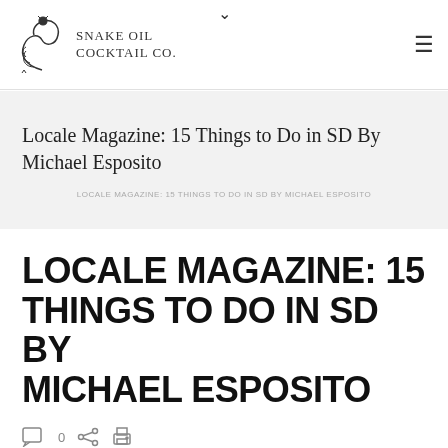Snake Oil Cocktail Co.
Locale Magazine: 15 Things to Do in SD By Michael Esposito
LOCALE MAGAZINE: 15 THINGS TO DO IN SD BY MICHAEL ESPOSITO
LOCALE MAGAZINE: 15 THINGS TO DO IN SD BY MICHAEL ESPOSITO